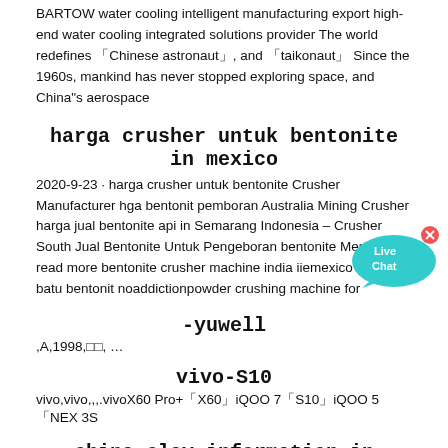BARTOW water cooling intelligent manufacturing export high-end water cooling integrated solutions provider The world redefines 「Chinese astronaut」, and 「taikonaut」 Since the 1960s, mankind has never stopped exploring space, and China"s aerospace
harga crusher untuk bentonite in mexico
2020-9-23 · harga crusher untuk bentonite Crusher Manufacturer hga bentonit pemboran Australia Mining Crusher harga jual bentonite api in Semarang Indonesia – Crusher South Jual Bentonite Untuk Pengeboran bentonite Mencari read more bentonite crusher machine india iiemexico crusher batu bentonit noaddictionpowder crushing machine for
[Figure (illustration): Live Chat bubble widget with cyan/teal color and a close button (x)]
-yuwell
,A,1998,□□, …
vivo-S10
vivo,vivo,,,.vivoX60 Pro+「X60」iQOO 7「S10」iQOO 5「NEX 3S
china clay information in philippines
Global Cosmetic Grade Kaolin ClayKnow More. Dec 08 2020 0183